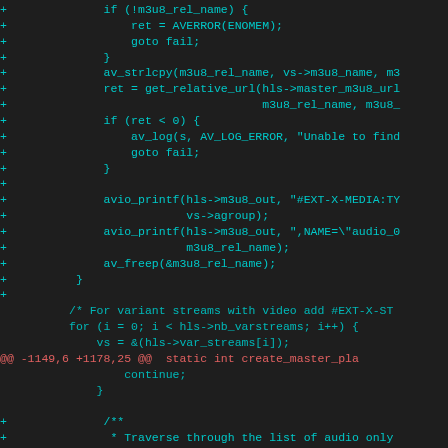[Figure (screenshot): Code diff view showing additions and context lines in a source file, with cyan/teal colored added lines prefixed with '+' and a red diff header line, on a dark background. The code relates to HLS streaming functions in C.]